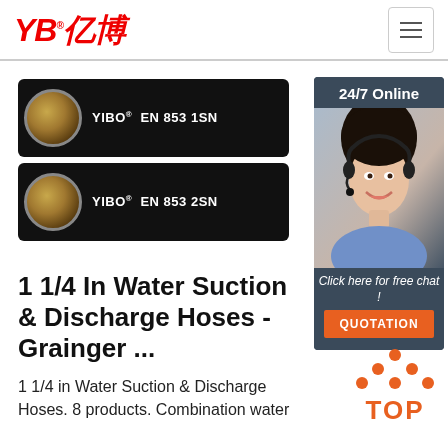[Figure (logo): YB亿博 logo in red italic text with registered mark]
[Figure (illustration): Hamburger menu icon button (three horizontal lines) in a bordered square]
[Figure (photo): Black hydraulic hose with gold braided end, labeled YIBO EN 853 1SN]
[Figure (photo): Black hydraulic hose with gold braided end, labeled YIBO EN 853 2SN]
1 1/4 In Water Suction & Discharge Hoses - Grainger ...
1 1/4 in Water Suction & Discharge Hoses. 8 products. Combination water
[Figure (infographic): 24/7 Online chat box with a customer service representative photo, 'Click here for free chat!' text, and an orange QUOTATION button]
[Figure (illustration): TOP button with orange dots arranged in an arrow pointing up above the word TOP in orange]